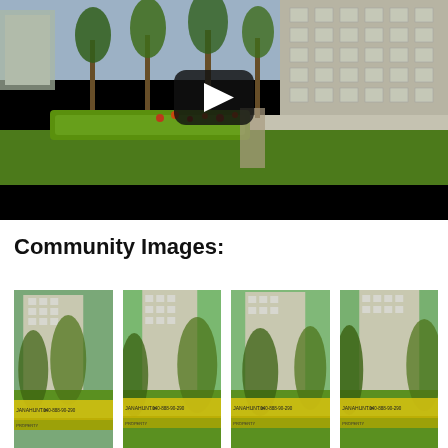[Figure (photo): Video thumbnail showing a residential apartment complex with green landscaping, hedges, trees, and a play button overlay on a dark background. Black control bar at the bottom.]
Community Images:
[Figure (photo): Four thumbnail images of a residential community/apartment complex with tall buildings, green trees and lawn, and yellow real estate banners with contact numbers at the bottom of each thumbnail.]